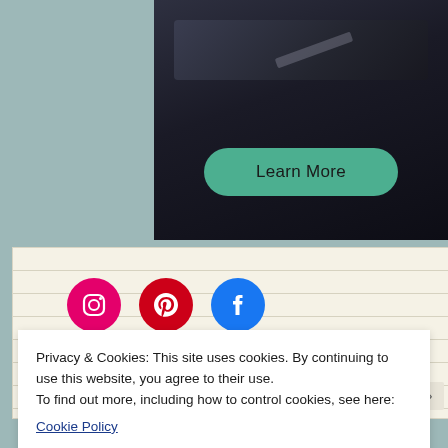[Figure (photo): Dark photo of a vinyl record or similar dark surface with a stylus or object on top]
Learn More
[Figure (illustration): Three social media icons: Instagram (pink/magenta circle), Pinterest (red circle), Facebook (blue circle)]
Privacy & Cookies: This site uses cookies. By continuing to use this website, you agree to their use.
To find out more, including how to control cookies, see here:
Cookie Policy
Close and accept